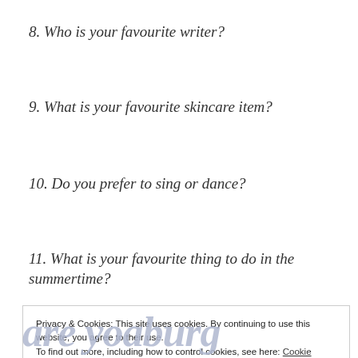8. Who is your favourite writer?
9. What is your favourite skincare item?
10. Do you prefer to sing or dance?
11. What is your favourite thing to do in the summertime?
Privacy & Cookies: This site uses cookies. By continuing to use this website, you agree to their use.
To find out more, including how to control cookies, see here: Cookie Policy
Close and accept